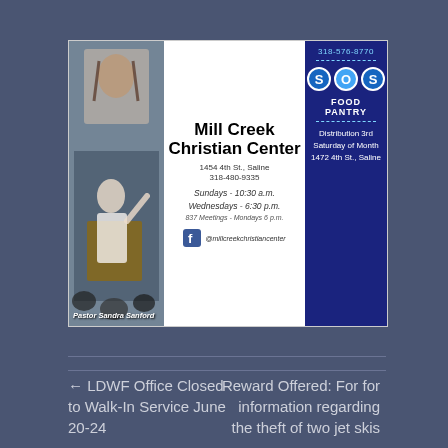[Figure (photo): Advertisement for Mill Creek Christian Center showing a pastor preaching, church info, and SOS Food Pantry details]
← LDWF Office Closed to Walk-In Service June 20-24
Reward Offered: For for information regarding the theft of two jet skis →